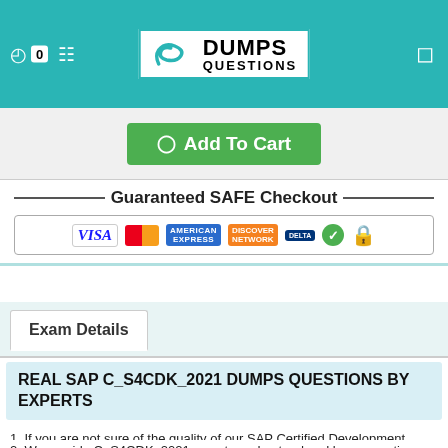Dumps Questions — 0 [cart icon] [search icon] [menu icon]
[Figure (logo): DumpsQuestions logo with stylized S and text DUMPS QUESTIONS]
Add To Cart
[Figure (infographic): Guaranteed SAFE Checkout banner with VISA, MasterCard, American Express, Discover, Delta, checkmark and lock icons]
Exam Details
REAL SAP C_S4CDK_2021 DUMPS QUESTIONS BY EXPERTS
1. If you are not sure of the quality of our SAP Certified Development Associate - SAP Cloud SDK Extensibility Developer Exam C_S4CDK_2021 product than you are free to download the SAP C_S4CDK_2021 demo to verify your doubts
2. We provide C_S4CDK_2021 easy to understand and learn question